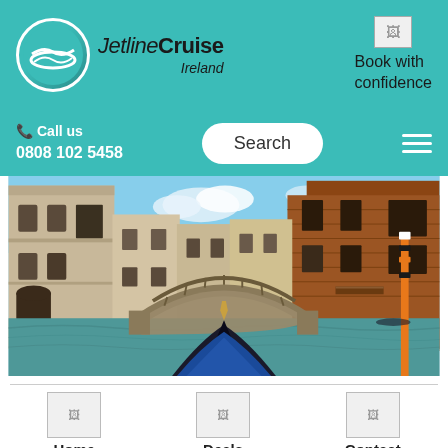JetlineCruise Ireland - Book with confidence
Call us 0808 102 5458
Search
[Figure (photo): View from a gondola on a Venice canal approaching a brick arch bridge, surrounded by historic buildings]
Home  Deals  Contact